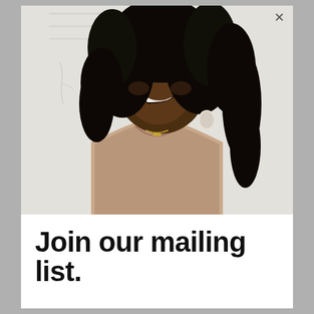[Figure (photo): A smiling Black woman with curly hair, wearing a tan/beige ribbed V-neck sweater and a delicate gold necklace with a small pendant, and a round white earring. She is laughing with eyes closed, leaning slightly against a white painted brick or textured white wall background.]
Join our mailing list.